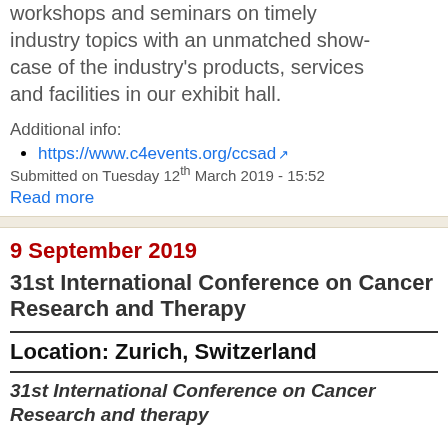workshops and seminars on timely industry topics with an unmatched showcase of the industry's products, services and facilities in our exhibit hall.
Additional info:
https://www.c4events.org/ccsad
Submitted on Tuesday 12th March 2019 - 15:52
Read more
9 September 2019
31st International Conference on Cancer Research and Therapy
Location: Zurich, Switzerland
31st International Conference on Cancer Research and therapy